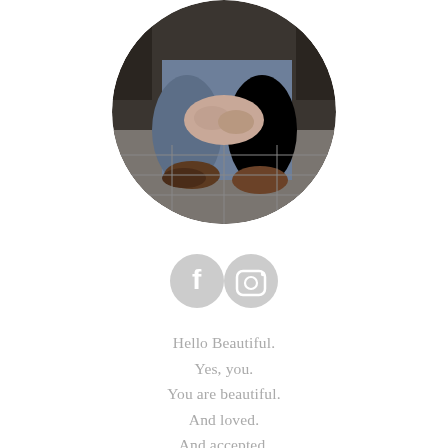[Figure (photo): Circular cropped photo of a person seated, hands clasped over their knees/feet, wearing jeans and brown shoes, on a tiled floor background.]
[Figure (infographic): Two circular social media icons side by side: Facebook (f logo) and Instagram (camera logo), both in light gray.]
Hello Beautiful.
Yes, you.
You are beautiful.
And loved.
And accepted.
Take a moment to let that sink in, okay?
Inhale. Exhale. Inhale. Exhale.